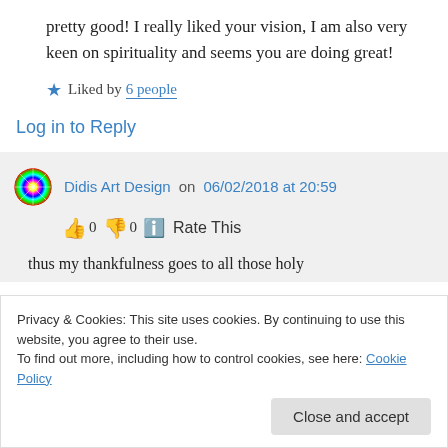pretty good! I really liked your vision, I am also very keen on spirituality and seems you are doing great!
Liked by 6 people
Log in to Reply
Didis Art Design on 06/02/2018 at 20:59
👍 0 👎 0 ℹ Rate This
Privacy & Cookies: This site uses cookies. By continuing to use this website, you agree to their use.
To find out more, including how to control cookies, see here: Cookie Policy
Close and accept
thus my thankfulness goes to all those holy